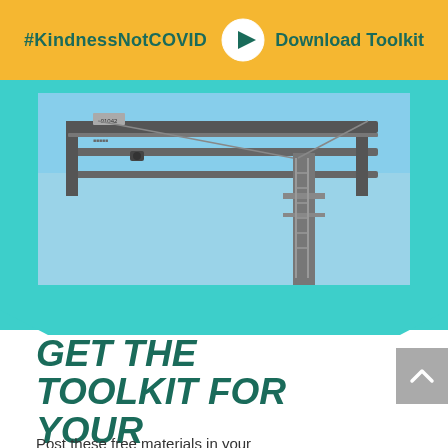#KindnessNotCOVID   Download Toolkit
[Figure (photo): Billboard structure with metal frame against a blue sky, seen from below at an angle. Teal/turquoise hexagonal decorative border surrounds the photo.]
GET THE TOOLKIT FOR YOUR BUSINESS.
Post these free materials in your